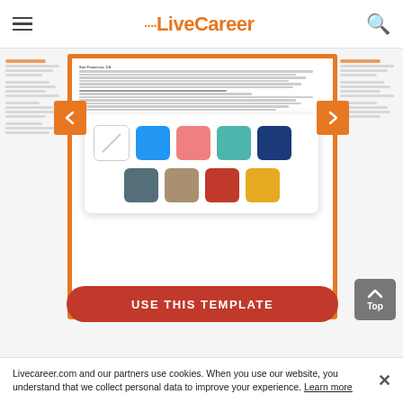LiveCareer
[Figure (screenshot): LiveCareer website showing a resume template color picker interface with orange navigation arrows on each side, a color palette panel with 9 color swatches (no color, blue, salmon, teal, navy, slate, tan, red, yellow), and a partial resume document in the background.]
USE THIS TEMPLATE
Livecareer.com and our partners use cookies. When you use our website, you understand that we collect personal data to improve your experience. Learn more